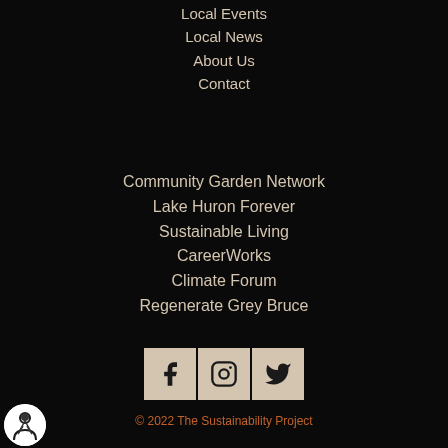Local Events
Local News
About Us
Contact
Community Garden Network
Lake Huron Forever
Sustainable Living
CareerWorks
Climate Forum
Regenerate Grey Bruce
[Figure (illustration): Three social media icons (Facebook, Instagram, Twitter) displayed as beige square buttons on a black background]
© 2022 The Sustainability Project
[Figure (logo): Circular logo with a figure/person icon on white background, bottom left corner]